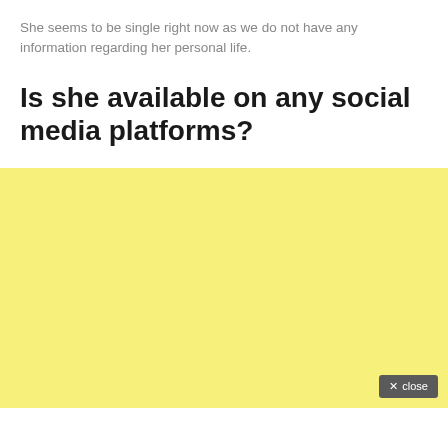She seems to be single right now as we do not have any information regarding her personal life.
Is she available on any social media platforms?
[Figure (other): Yellow/light yellow background advertisement or content block with a close button in the bottom right corner.]